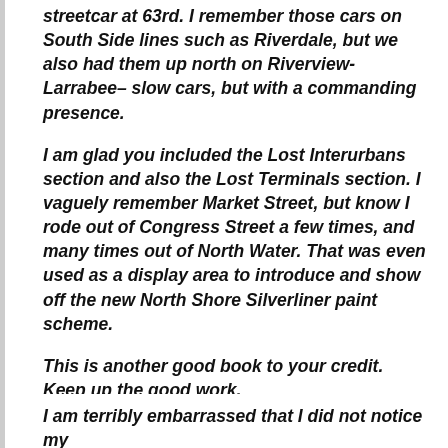streetcar at 63rd. I remember those cars on South Side lines such as Riverdale, but we also had them up north on Riverview-Larrabee– slow cars, but with a commanding presence.
I am glad you included the Lost Interurbans section and also the Lost Terminals section. I vaguely remember Market Street, but know I rode out of Congress Street a few times, and many times out of North Water. That was even used as a display area to introduce and show off the new North Shore Silverliner paint scheme.
This is another good book to your credit. Keep up the good work.
Apparently, he did not initially notice that the book is dedicated to him, so I had to bring that to his attention.
He then wrote:
I am terribly embarrassed that I did not notice my